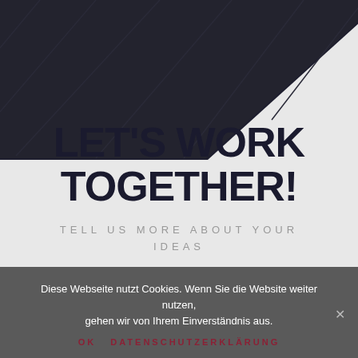[Figure (illustration): Dark diagonal graphic covering top-left portion of the page, showing a dark navy/black angled shape against a light grey background]
LET'S WORK TOGETHER!
TELL US MORE ABOUT YOUR IDEAS
Diese Webseite nutzt Cookies. Wenn Sie die Website weiter nutzen, gehen wir von Ihrem Einverständnis aus.
OK  DATENSCHUTZERKLÄRUNG